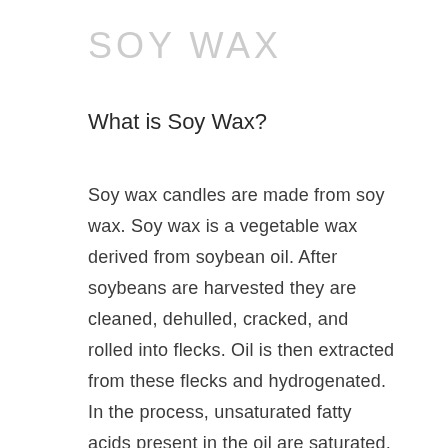SOY WAX
What is Soy Wax?
Soy wax candles are made from soy wax. Soy wax is a vegetable wax derived from soybean oil. After soybeans are harvested they are cleaned, dehulled, cracked, and rolled into flecks. Oil is then extracted from these flecks and hydrogenated. In the process, unsaturated fatty acids present in the oil are saturated, thereby dramatically altering the oil's melting point. It then solidifies at room temperature.